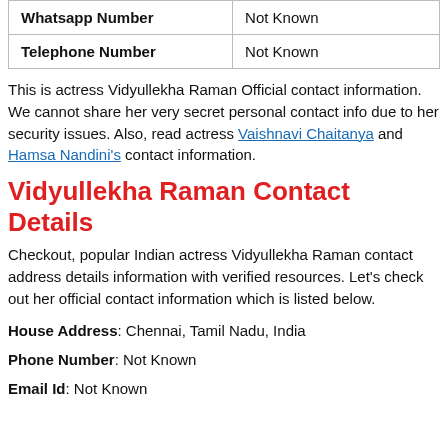| Whatsapp Number | Not Known |
| Telephone Number | Not Known |
This is actress Vidyullekha Raman Official contact information. We cannot share her very secret personal contact info due to her security issues. Also, read actress Vaishnavi Chaitanya and Hamsa Nandini's contact information.
Vidyullekha Raman Contact Details
Checkout, popular Indian actress Vidyullekha Raman contact address details information with verified resources. Let's check out her official contact information which is listed below.
House Address: Chennai, Tamil Nadu, India
Phone Number: Not Known
Email Id: Not Known